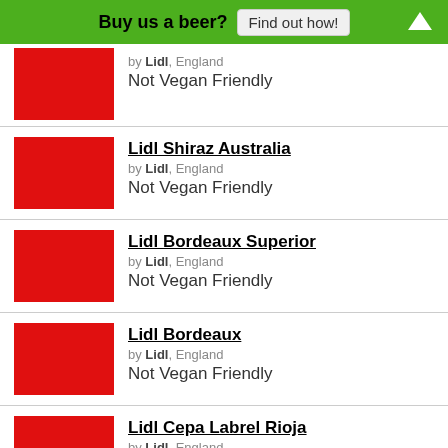Buy us a beer? Find out how!
by Lidl, England
Not Vegan Friendly
Lidl Shiraz Australia
by Lidl, England
Not Vegan Friendly
Lidl Bordeaux Superior
by Lidl, England
Not Vegan Friendly
Lidl Bordeaux
by Lidl, England
Not Vegan Friendly
Lidl Cepa Labrel Rioja
by Lidl, England
Not Vegan Friendly
Lidl Perfect with Merlot
by Lidl, England
Not Vegan Friendly
(partial item at bottom)